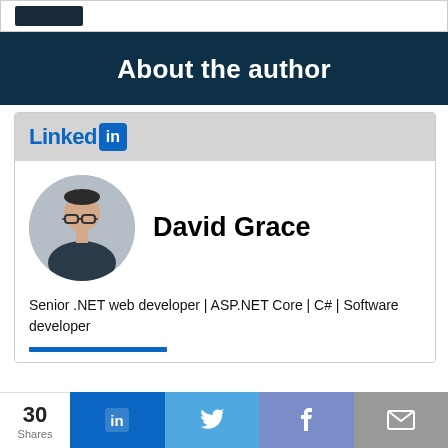[Figure (screenshot): Top bar with a dark logo/banner partially visible at the top of the page]
About the author
[Figure (logo): LinkedIn logo — 'Linked' in blue text with 'in' white text in a blue rounded-square box]
[Figure (photo): Circular profile photo of David Grace, a man with glasses and dark hair]
David Grace
Senior .NET web developer | ASP.NET Core | C# | Software developer
30 Shares  [LinkedIn share] [Twitter share] [Facebook share] [Email share]